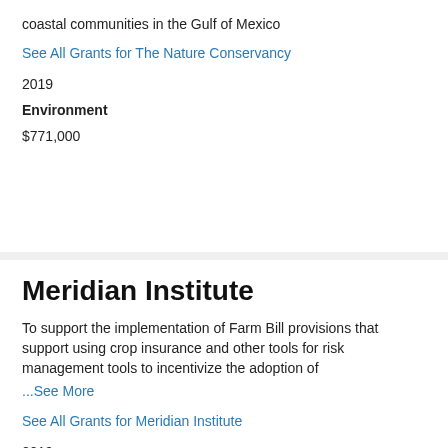coastal communities in the Gulf of Mexico
See All Grants for The Nature Conservancy
2019
Environment
$771,000
Meridian Institute
To support the implementation of Farm Bill provisions that support using crop insurance and other tools for risk management tools to incentivize the adoption of
...See More
See All Grants for Meridian Institute
2019